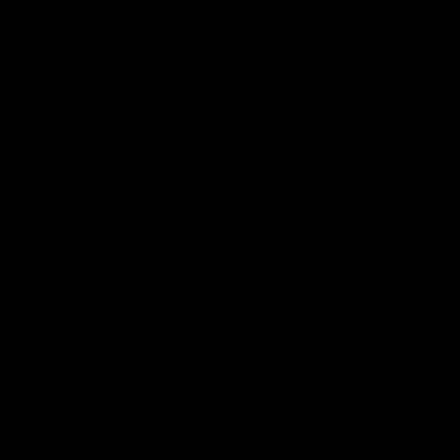and goats and chickens. And no plans to get together until the Christmas holiday where the crew and filming would shut down for a week and he would fly home.

And we happened.

I was in Hungary, getting my doctorate at the local